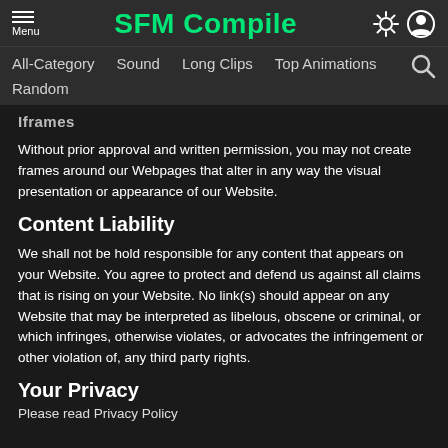SFM Compile — Navigation: All-Category, Sound, Long Clips, Top Animations, Random
(partial heading — iframes)
Without prior approval and written permission, you may not create frames around our Webpages that alter in any way the visual presentation or appearance of our Website.
Content Liability
We shall not be hold responsible for any content that appears on your Website. You agree to protect and defend us against all claims that is rising on your Website. No link(s) should appear on any Website that may be interpreted as libelous, obscene or criminal, or which infringes, otherwise violates, or advocates the infringement or other violation of, any third party rights.
Your Privacy
Please read Privacy Policy...